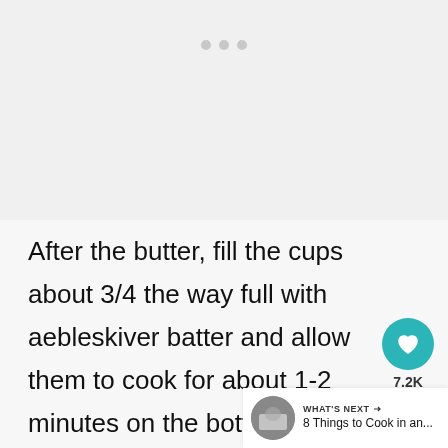[Figure (other): Light gray image placeholder area with three gray dots (carousel/slider indicators) at the top center]
After the butter, fill the cups about 3/4 the way full with aebleskiver batter and allow them to cook for about 1-2 minutes on the bottom. The batter will begin to puff and bubble, just like a pancake does.